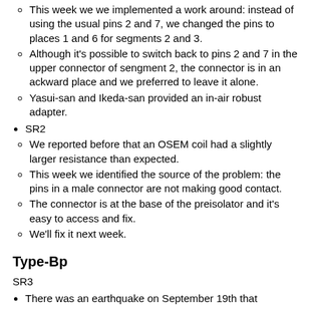This week we we implemented a work around: instead of using the usual pins 2 and 7, we changed the pins to places 1 and 6 for segments 2 and 3.
Although it's possible to switch back to pins 2 and 7 in the upper connector of sengment 2, the connector is in an ackward place and we preferred to leave it alone.
Yasui-san and Ikeda-san provided an in-air robust adapter.
SR2
We reported before that an OSEM coil had a slightly larger resistance than expected.
This week we identified the source of the problem: the pins in a male connector are not making good contact.
The connector is at the base of the preisolator and it's easy to access and fix.
We'll fix it next week.
Type-Bp
SR3
There was an earthquake on September 19th that